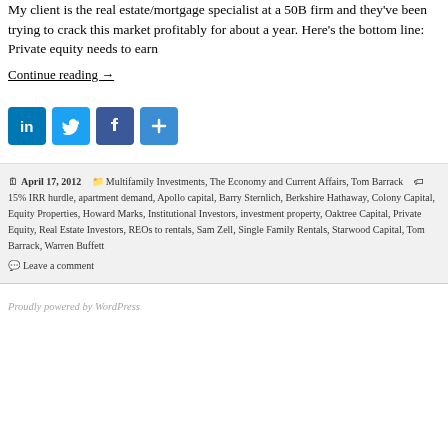My client is the real estate/mortgage specialist at a 50B firm and they've been trying to crack this market profitably for about a year. Here's the bottom line: Private equity needs to earn
Continue reading →
[Figure (infographic): Social sharing buttons: LinkedIn, Twitter, Facebook, Share (plus icon)]
April 17, 2012   Multifamily Investments, The Economy and Current Affairs, Tom Barrack   15% IRR hurdle, apartment demand, Apollo capital, Barry Sternlich, Berkshire Hathaway, Colony Capital, Equity Properties, Howard Marks, Institutional Investors, investment property, Oaktree Capital, Private Equity, Real Estate Investors, REOs to rentals, Sam Zell, Single Family Rentals, Starwood Capital, Tom Barrack, Warren Buffett
Leave a comment
Proudly powered by WordPress